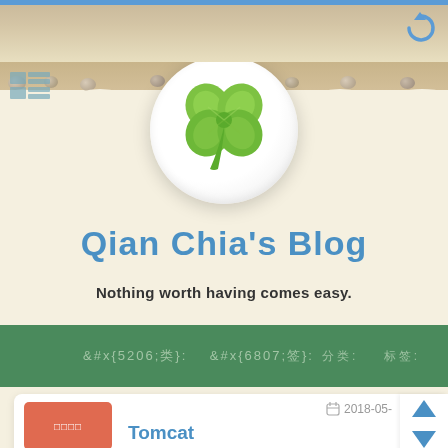[Figure (screenshot): Browser top bar with blue stripe and reload icon]
[Figure (illustration): Four-leaf clover logo in circular white badge with shadow]
Qian Chia's Blog
Nothing worth having comes easy.
□□:   □□:
2018-05-
□□□□
Tomcat